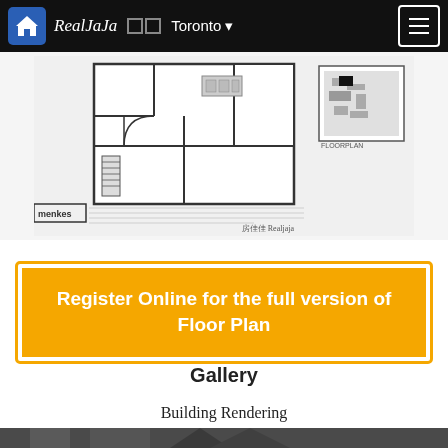RealJaJa  Toronto
[Figure (schematic): Floor plan schematic showing a residential unit layout with rooms, a curved wall, staircase, and an inset building location map. Menkes builder logo and disclaimer text visible at bottom. Realjaja watermark at bottom right.]
Register Online for the full version of Floor Plan
Gallery
Building Rendering
[Figure (photo): Partial view of a building exterior rendering at the bottom of the page.]